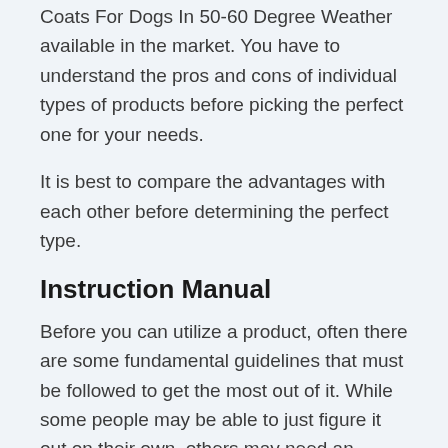Coats For Dogs In 50-60 Degree Weather available in the market. You have to understand the pros and cons of individual types of products before picking the perfect one for your needs.
It is best to compare the advantages with each other before determining the perfect type.
Instruction Manual
Before you can utilize a product, often there are some fundamental guidelines that must be followed to get the most out of it. While some people may be able to just figure it out on their own, others may need an instruction manual.